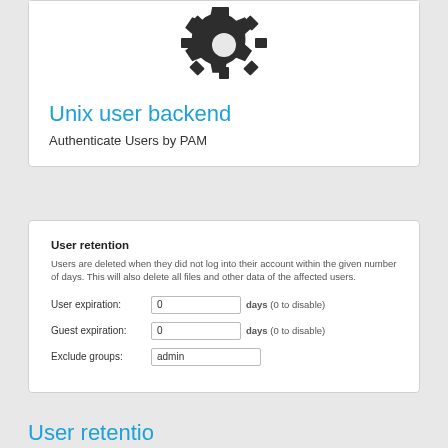[Figure (illustration): Gear/settings icon in dark color at top of card]
Unix user backend
Authenticate Users by PAM
User retention
Users are deleted when they did not log into their account within the given number of days. This will also delete all files and other data of the affected users.
User expiration: 0 days (0 to disable)
Guest expiration: 0 days (0 to disable)
Exclude groups: admin
User retentio...